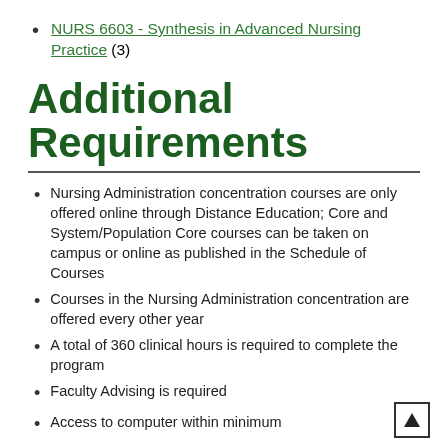NURS 6603 - Synthesis in Advanced Nursing Practice (3)
Additional Requirements
Nursing Administration concentration courses are only offered online through Distance Education; Core and System/Population Core courses can be taken on campus or online as published in the Schedule of Courses
Courses in the Nursing Administration concentration are offered every other year
A total of 360 clinical hours is required to complete the program
Faculty Advising is required
Access to computer within minimum